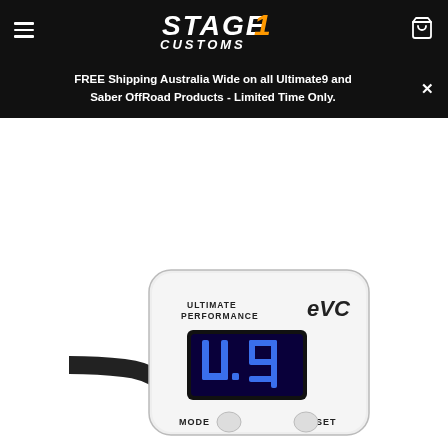Stage 1 Customs - Navigation header with hamburger menu, logo, and cart icon
FREE Shipping Australia Wide on all Ultimate9 and Saber OffRoad Products - Limited Time Only.
[Figure (photo): Ultimate Performance EVC throttle controller device with white casing, blue LED display showing 'U.9', MODE and SET buttons, and a black cable/connector on the left side]